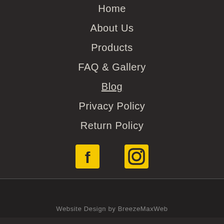Home
About Us
Products
FAQ & Gallery
Blog
Privacy Policy
Return Policy
[Figure (illustration): Facebook and Instagram social media icons in yellow on dark background]
Website Design by BreezeMaxWeb